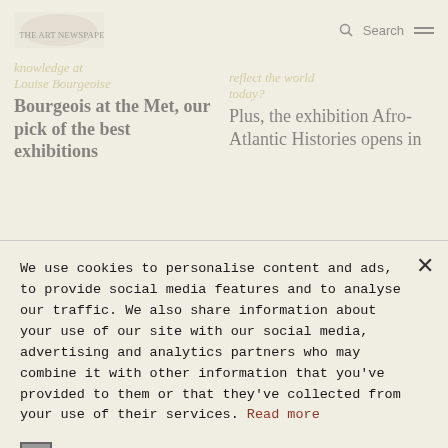[Figure (screenshot): Background website header with logo, search icon, and hamburger menu, partially visible article headlines]
We use cookies to personalise content and ads, to provide social media features and to analyse our traffic. We also share information about your use of our site with our social media, advertising and analytics partners who may combine it with other information that you've provided to them or that they've collected from your use of their services. Read more
STRICTLY NECESSARY
TARGETING
UNCLASSIFIED
ACCEPT ALL
DECLINE ALL
SHOW DETAILS